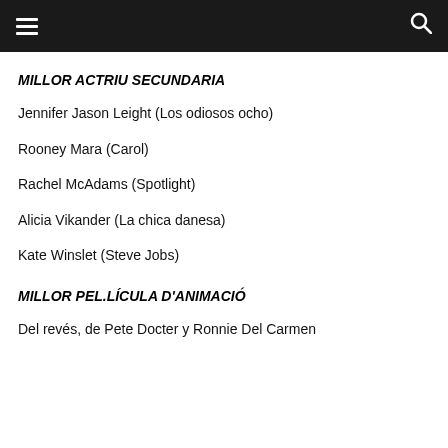☰  🔍
MILLOR ACTRIU SECUNDARIA
Jennifer Jason Leight (Los odiosos ocho)
Rooney Mara (Carol)
Rachel McAdams (Spotlight)
Alicia Vikander (La chica danesa)
Kate Winslet (Steve Jobs)
MILLOR PEL.LÍCULA D'ANIMACIÓ
Del revés, de Pete Docter y Ronnie Del Carmen